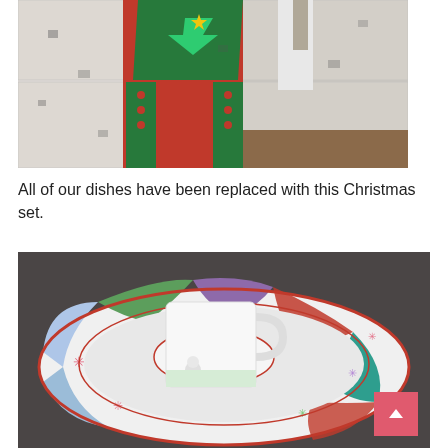[Figure (photo): Photo of a red and green Christmas-themed apron or garment hanging on a wall with white wallboard panels. Other clothing items visible on hooks in background.]
All of our dishes have been replaced with this Christmas set.
[Figure (photo): Photo of a Christmas-themed plate and mug set. The plate has colorful holiday panels with snowflakes, presents, and a snowman. A white ceramic mug with Christmas imagery sits on a small matching saucer on top of the large plate. A pink/red scroll-to-top button is visible in the bottom right corner.]